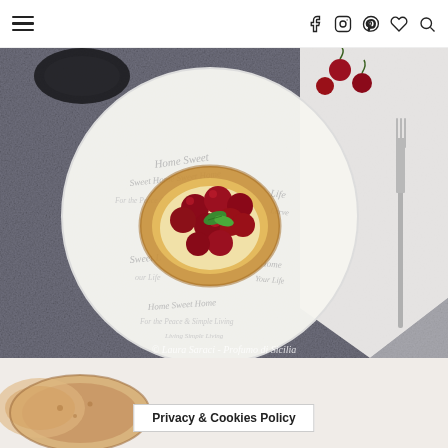Navigation bar with hamburger menu and social icons (Facebook, Instagram, Pinterest, heart, search)
[Figure (photo): Overhead food photography of a cherry tart on a 'Home Sweet Home' decorative plate, with cherries and mint leaf, on a dark grey textured surface. A fork rests on a white napkin to the right. Scattered cherries and a dark fluted tart mold visible in background. Watermark reads: © Laura Saraci - Profumo di Sicilia]
[Figure (photo): Partial view of sliced bread on a white surface, bottom strip of page]
Privacy & Cookies Policy